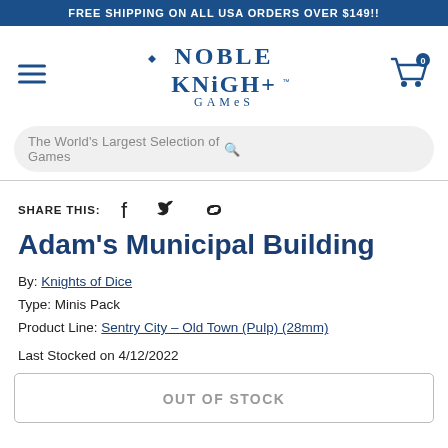FREE SHIPPING ON ALL USA ORDERS OVER $149!!
[Figure (logo): Noble Knight Games logo — stylized medieval knight font in dark blue, with 'NOBLE KNIGHT GAMES' text]
The World's Largest Selection of Games
SHARE THIS:
Adam's Municipal Building
By: Knights of Dice
Type: Minis Pack
Product Line: Sentry City - Old Town (Pulp) (28mm)
Last Stocked on 4/12/2022
OUT OF STOCK